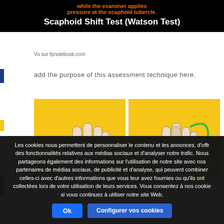[Figure (screenshot): Black banner with orange text 'while the examiner applies pressure at the scaphoid tubercle.' and white bold title 'Scaphoid Shift Test (Watson Test)']
Vu sur fpnotebook.com
add the purpose of this assessment technique here.
[Figure (illustration): Two panel illustration on yellow background showing hand positions for the Scaphoid Shift (Watson) Test. Left panel shows hands in neutral position; right panel shows the scaphoid shift with a green arrow indicating movement.]
Les cookies nous permettent de personnaliser le contenu et les annonces, d'offr des fonctionnalités relatives aux médias sociaux et d'analyser notre trafic. Nous partageons également des informations sur l'utilisation de notre site avec nos partenaires de médias sociaux, de publicité et d'analyse, qui peuvent combiner celles-ci avec d'autres informations que vous leur avez fournies ou qu'ils ont collectées lors de votre utilisation de leurs services. Vous consentez à nos cookie si vous continuez à utiliser notre site Web.